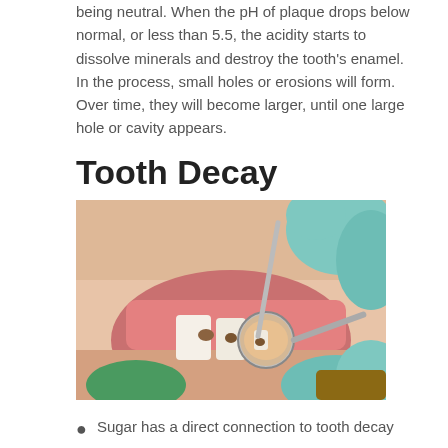being neutral. When the pH of plaque drops below normal, or less than 5.5, the acidity starts to dissolve minerals and destroy the tooth's enamel. In the process, small holes or erosions will form. Over time, they will become larger, until one large hole or cavity appears.
Tooth Decay
[Figure (photo): Close-up photo of a dentist examining a patient's open mouth with a dental mirror and tool, showing teeth with signs of decay. The dentist wears teal/mint colored gloves.]
Sugar has a direct connection to tooth decay